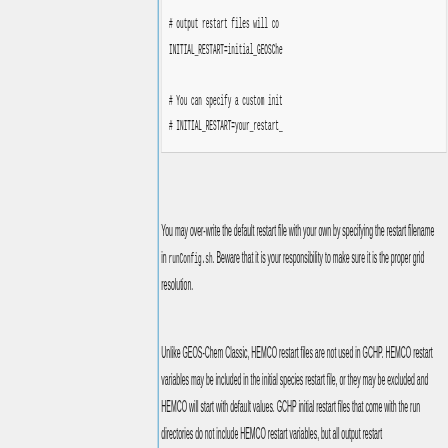# output restart files will co
INITIAL_RESTART=initial_GEOSChe

# You can specify a custom init
# INITIAL_RESTART=your_restart_
You may over-write the default restart file with your own by specifying the restart filename in runConfig.sh. Beware that it is your responsibility to make sure it is the proper grid resolution.
Unlike GEOS-Chem Classic, HEMCO restart files are not used in GCHP. HEMCO restart variables may be included in the initial species restart file, or they may be excluded and HEMCO will start with default values. GCHP initial restart files that come with the run directories do not include HEMCO restart variables, but all output restart